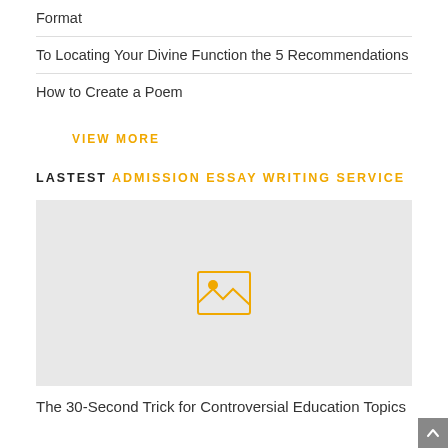Format
To Locating Your Divine Function the 5 Recommendations
How to Create a Poem
VIEW MORE
LASTEST ADMISSION ESSAY WRITING SERVICE
[Figure (photo): Placeholder image with image icon on grey background]
The 30-Second Trick for Controversial Education Topics